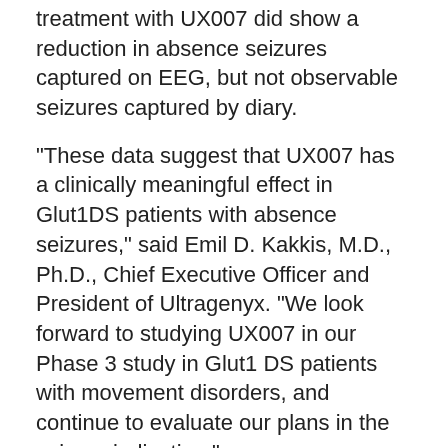treatment with UX007 did show a reduction in absence seizures captured on EEG, but not observable seizures captured by diary.
"These data suggest that UX007 has a clinically meaningful effect in Glut1DS patients with absence seizures," said Emil D. Kakkis, M.D., Ph.D., Chief Executive Officer and President of Ultragenyx. "We look forward to studying UX007 in our Phase 3 study in Glut1 DS patients with movement disorders, and continue to evaluate our plans in the seizure indication."
Efficacy Results
UX007 did not meet the primary endpoint of the study during the eight-week placebo-controlled treatment period when evaluating observable and absence seizures together. Patients treated with UX007 (n=25) demonstrated a reduction of 13.4% in overall seizure